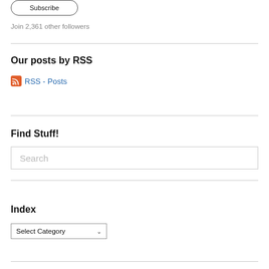[Figure (other): Subscribe button with rounded border at top left]
Join 2,361 other followers
Our posts by RSS
[Figure (other): RSS feed icon (orange/red) with RSS - Posts link]
Find Stuff!
[Figure (other): Search input box with placeholder text 'Search']
Index
[Figure (other): Select Category dropdown box]